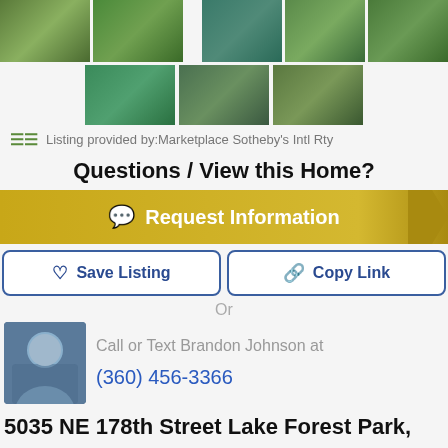[Figure (photo): Row of thumbnail property photos showing green trees and landscape]
Listing provided by:Marketplace Sotheby's Intl Rty
Questions / View this Home?
Request Information
Save Listing
Copy Link
Or
Call or Text Brandon Johnson at (360) 456-3366
5035 NE 178th Street Lake Forest Park, WA Description: